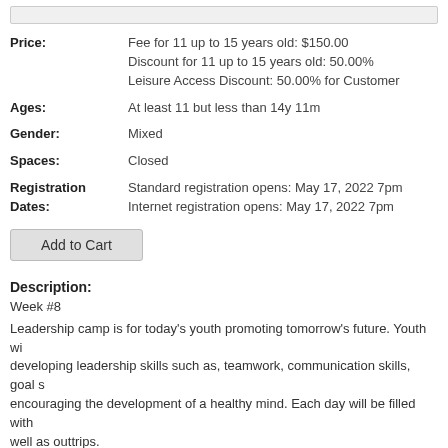Price: Fee for 11 up to 15 years old: $150.00
Discount for 11 up to 15 years old: 50.00%
Leisure Access Discount: 50.00% for Customer
Ages: At least 11 but less than 14y 11m
Gender: Mixed
Spaces: Closed
Registration Dates: Standard registration opens: May 17, 2022 7pm
Internet registration opens: May 17, 2022 7pm
Add to Cart
Description:
Week #8
Leadership camp is for today's youth promoting tomorrow's future. Youth wi... developing leadership skills such as, teamwork, communication skills, goal ... encouraging the development of a healthy mind. Each day will be filled with... well as outtrips.
* activities are subject to change
•Parents/guardians must sign-in/out their child at drop-off & pick up, and co...